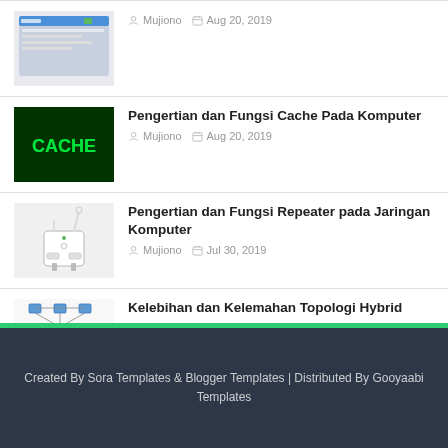[Figure (screenshot): Screenshot of a computer application window]
Mujiono  Aug 20, 2019
[Figure (photo): Green glowing CACHE text on circuit board background]
Pengertian dan Fungsi Cache Pada Komputer
Mujiono  Aug 20, 2019
[Figure (photo): White WiFi repeater device]
Pengertian dan Fungsi Repeater pada Jaringan Komputer
Mujiono  Jul 30, 2019
[Figure (network-graph): Hybrid network topology diagram]
Kelebihan dan Kelemahan Topologi Hybrid
Mujiono  Jul 27, 2019
Created By Sora Templates & Blogger Templates | Distributed By Gooyaabi Templates